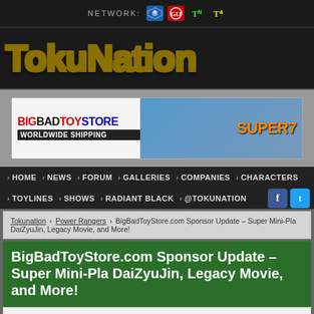NETWORK:
[Figure (logo): TokuNation logo in large green metallic text on dark background]
[Figure (screenshot): BigBadToyStore advertisement banner with Power Rangers figures and Super7 branding, WORLDWIDE SHIPPING text]
› HOME › NEWS › FORUM › GALLERIES › COMPANIES › CHARACTERS › TOYLINES › SHOWS › RADIANT BLACK › @TOKUNATION
Tokunation › Power Rangers › BigBadToyStore.com Sponsor Update – Super Mini-Pla DaiZyuJin, Legacy Movie, and More!
BigBadToyStore.com Sponsor Update – Super Mini-Pla DaiZyuJin, Legacy Movie, and More!
Posted on May 4, 2017 at 8:27 pm by Toku Chris under Kamen Rider, Power Rangers, Super Sentai, Ultraman
[Figure (screenshot): BigBadToyStore logo in large red and black text at bottom of page]